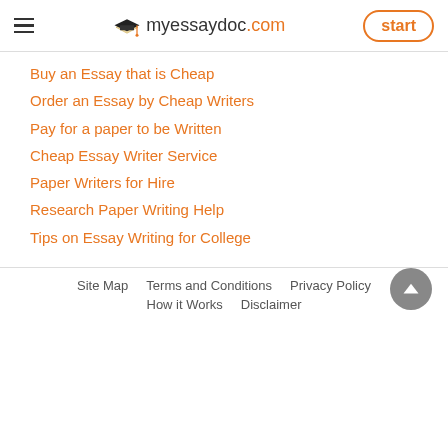myessaydoc.com | start
Buy an Essay that is Cheap
Order an Essay by Cheap Writers
Pay for a paper to be Written
Cheap Essay Writer Service
Paper Writers for Hire
Research Paper Writing Help
Tips on Essay Writing for College
Site Map   Terms and Conditions   Privacy Policy   How it Works   Disclaimer